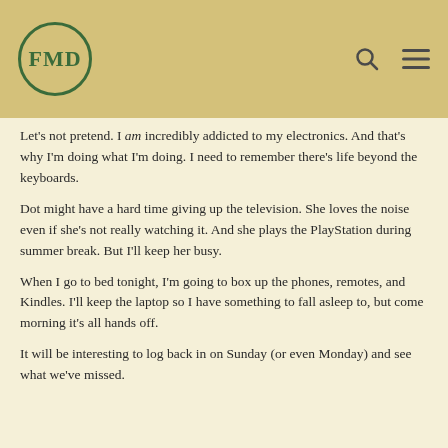FMD
Let's not pretend. I am incredibly addicted to my electronics. And that's why I'm doing what I'm doing. I need to remember there's life beyond the keyboards.
Dot might have a hard time giving up the television. She loves the noise even if she's not really watching it. And she plays the PlayStation during summer break. But I'll keep her busy.
When I go to bed tonight, I'm going to box up the phones, remotes, and Kindles. I'll keep the laptop so I have something to fall asleep to, but come morning it's all hands off.
It will be interesting to log back in on Sunday (or even Monday) and see what we've missed.